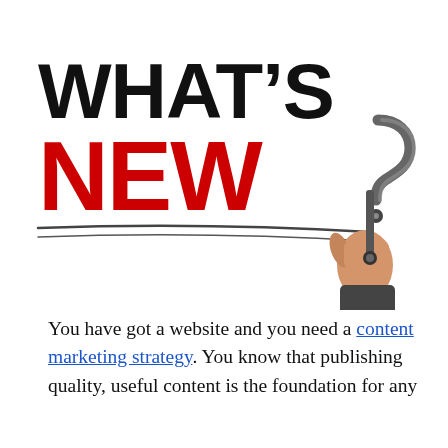[Figure (illustration): A hand holding a metallic marker/pen drawing a question mark, next to large bold text reading WHAT'S NEW with underline strokes. WHAT'S in black, NEW in red.]
You have got a website and you need a content marketing strategy. You know that publishing quality, useful content is the foundation for any